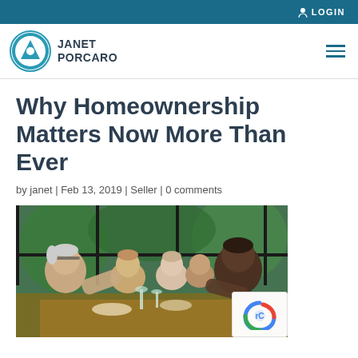LOGIN
[Figure (logo): Janet Porcaro logo with circular teal badge and name text]
Why Homeownership Matters Now More Than Ever
by janet | Feb 13, 2019 | Seller | 0 comments
[Figure (photo): Group of elderly people dining and socializing around a table]